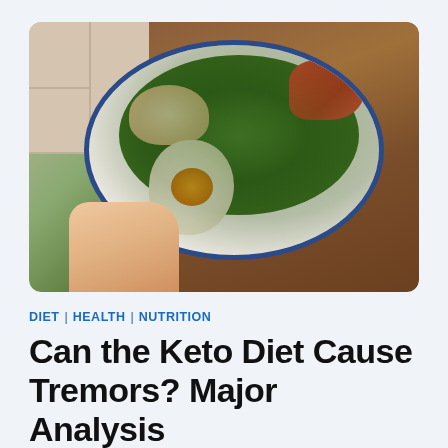[Figure (photo): A hand holding a white enamel oval dish containing a keto-style salad with boiled egg, hummus, mixed greens, herbs, cucumber slices, and tomato wedges on a wooden and tiled surface background.]
DIET | HEALTH | NUTRITION
Can the Keto Diet Cause Tremors? Major Analysis